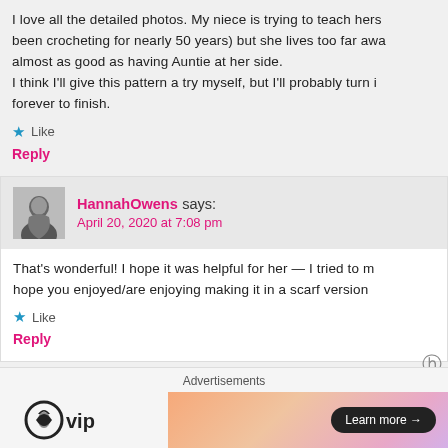I love all the detailed photos. My niece is trying to teach herself (I've been crocheting for nearly 50 years) but she lives too far away — this is almost as good as having Auntie at her side.
I think I'll give this pattern a try myself, but I'll probably turn it into a scarf and take forever to finish.
★ Like
Reply
HannahOwens says:
April 20, 2020 at 7:08 pm
That's wonderful! I hope it was helpful for her — I tried to make it as detailed as possible! I hope you enjoyed/are enjoying making it in a scarf version!
★ Like
Reply
Advertisements
[Figure (logo): WordPress VIP logo]
[Figure (illustration): Ad banner with gradient background and Learn more button]